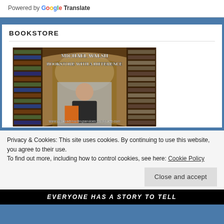Powered by Google Translate
BOOKSTORE
[Figure (photo): Michael Walsh Bookstore With A Difference - library image with man holding books, www.mikewalshwritingservices.wordpress.com]
Privacy & Cookies: This site uses cookies. By continuing to use this website, you agree to their use.
To find out more, including how to control cookies, see here: Cookie Policy
Close and accept
EVERYONE HAS A STORY TO TELL